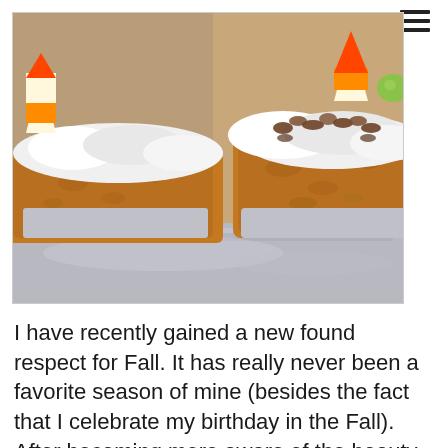[Figure (photo): Two pumpkin/carrot cupcakes with white frosting, topped with chopped nuts and candy corn, sitting on aluminum foil. Close-up shot with blurred background.]
I have recently gained a new found respect for Fall. It has really never been a favorite season of mine (besides the fact that I celebrate my birthday in the Fall).  After becoming more aware of the beauty in this season, I